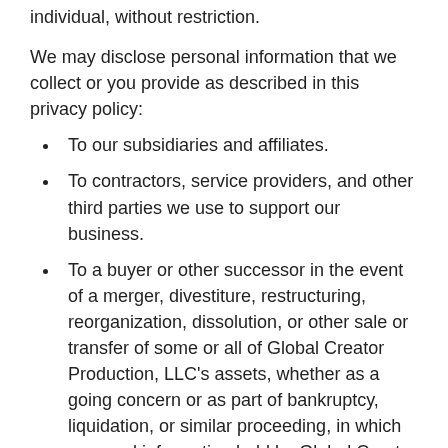individual, without restriction.
We may disclose personal information that we collect or you provide as described in this privacy policy:
To our subsidiaries and affiliates.
To contractors, service providers, and other third parties we use to support our business.
To a buyer or other successor in the event of a merger, divestiture, restructuring, reorganization, dissolution, or other sale or transfer of some or all of Global Creator Production, LLC's assets, whether as a going concern or as part of bankruptcy, liquidation, or similar proceeding, in which personal information held by Global Creator Production, LLC about our Website users is among the assets transferred.